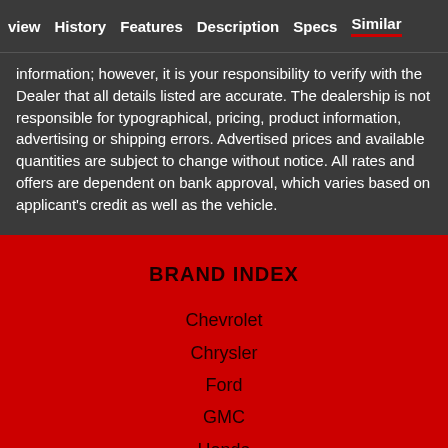view   History   Features   Description   Specs   Similar
information; however, it is your responsibility to verify with the Dealer that all details listed are accurate. The dealership is not responsible for typographical, pricing, product information, advertising or shipping errors. Advertised prices and available quantities are subject to change without notice. All rates and offers are dependent on bank approval, which varies based on applicant's credit as well as the vehicle.
BRAND INDEX
Chevrolet
Chrysler
Ford
GMC
Honda
Jeep